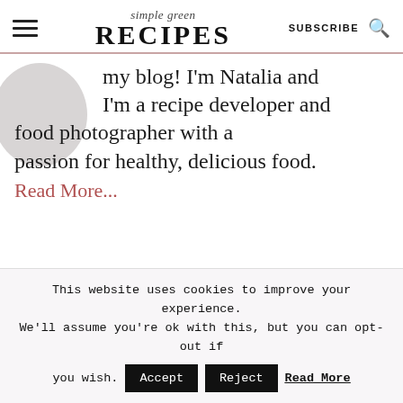simple green RECIPES | SUBSCRIBE
my blog! I'm Natalia and I'm a recipe developer and food photographer with a passion for healthy, delicious food.
Read More...
This website uses cookies to improve your experience. We'll assume you're ok with this, but you can opt-out if you wish. Accept Reject Read More